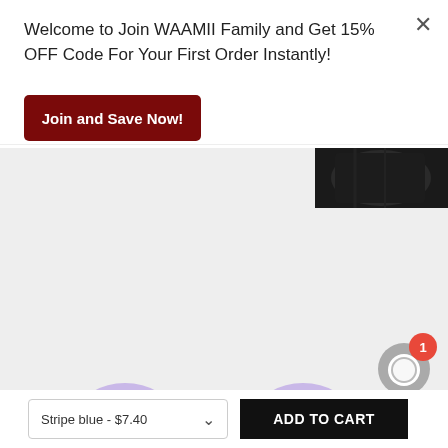[Figure (screenshot): E-commerce product page screenshot showing a popup modal overlay on a clothing product page]
Welcome to Join WAAMII Family and Get 15% OFF Code For Your First Order Instantly!
Join and Save Now!
Stripe blue - $7.40
ADD TO CART